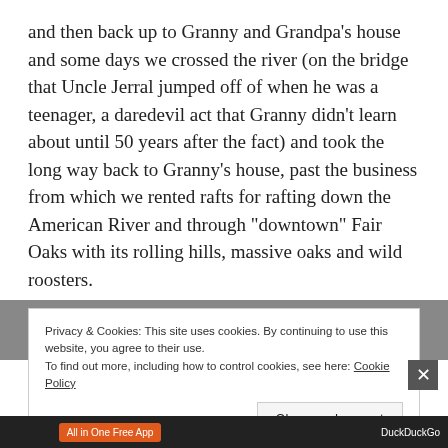and then back up to Granny and Grandpa’s house and some days we crossed the river (on the bridge that Uncle Jerral jumped off of when he was a teenager, a daredevil act that Granny didn’t learn about until 50 years after the fact) and took the long way back to Granny’s house, past the business from which we rented rafts for rafting down the American River and through “downtown” Fair Oaks with its rolling hills, massive oaks and wild roosters.
Privacy & Cookies: This site uses cookies. By continuing to use this website, you agree to their use. To find out more, including how to control cookies, see here: Cookie Policy
Close and accept
All in One Free App
DuckDuckGo